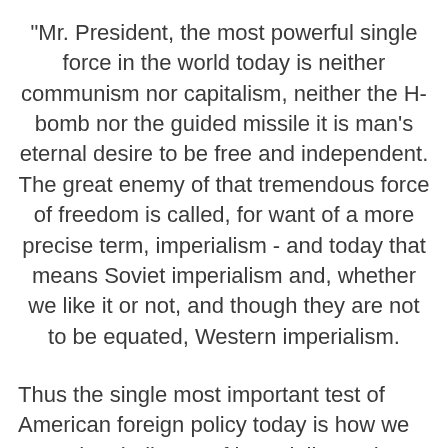"Mr. President, the most powerful single force in the world today is neither communism nor capitalism, neither the H-bomb nor the guided missile it is man's eternal desire to be free and independent. The great enemy of that tremendous force of freedom is called, for want of a more precise term, imperialism - and today that means Soviet imperialism and, whether we like it or not, and though they are not to be equated, Western imperialism.
Thus the single most important test of American foreign policy today is how we meet the challenge of imperialism, what we do to further man's desire to be free. On this test more than any other, this